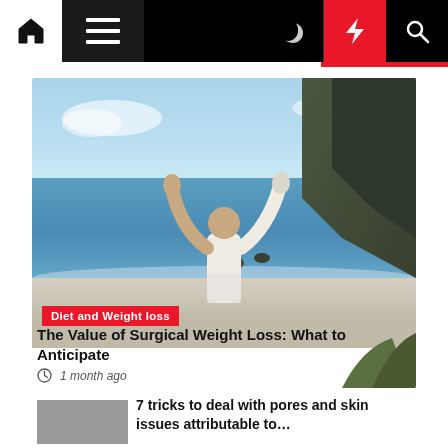Navigation bar with home, menu, moon, bolt, and search icons
[Figure (photo): Person on a beach with arms raised, ocean and cliffs in background]
Diet and Weight loss
The Value of Surgical Weight Loss: What to Anticipate
1 month ago
[Figure (photo): Thumbnail image for article about skin pores]
7 tricks to deal with pores and skin issues attributable to…